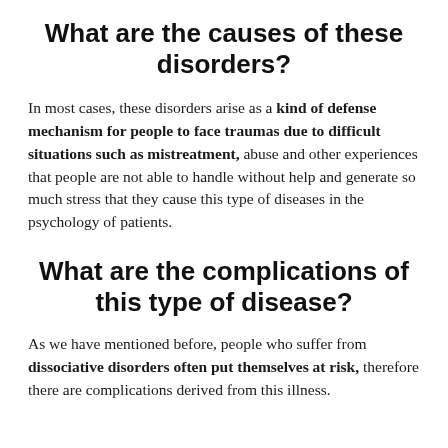What are the causes of these disorders?
In most cases, these disorders arise as a kind of defense mechanism for people to face traumas due to difficult situations such as mistreatment, abuse and other experiences that people are not able to handle without help and generate so much stress that they cause this type of diseases in the psychology of patients.
What are the complications of this type of disease?
As we have mentioned before, people who suffer from dissociative disorders often put themselves at risk, therefore there are complications derived from this illness.